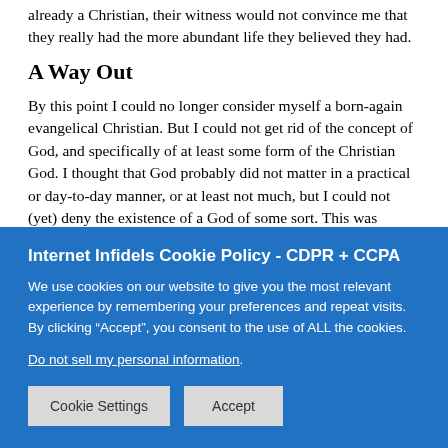already a Christian, their witness would not convince me that they really had the more abundant life they believed they had.
A Way Out
By this point I could no longer consider myself a born-again evangelical Christian. But I could not get rid of the concept of God, and specifically of at least some form of the Christian God. I thought that God probably did not matter in a practical or day-to-day manner, or at least not much, but I could not (yet) deny the existence of a God of some sort. This was mainly because I could not see how something like human minds, or “souls” or whatever, could be a result purely of the material world. To say that it is all nothing but matter in motion would be a sheer...
Internet Infidels Cookie Policy - CDPR + CCPA
We use cookies on our website to give you the most relevant experience by remembering your preferences and repeat visits. By clicking “Accept”, you consent to the use of ALL the cookies.
Do not sell my personal information.